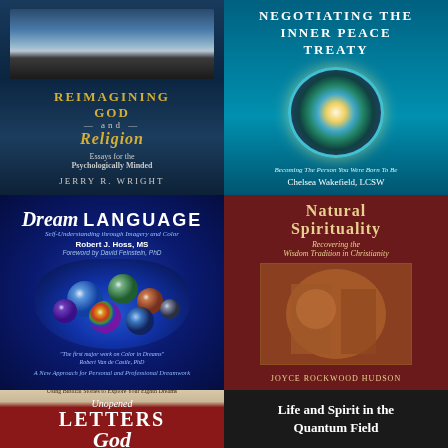[Figure (illustration): Book cover: Reimagining God and Religion - Essays for the Psychologically Minded by Jerry R. Wright. Dark blue night sky with water reflection background.]
[Figure (illustration): Book cover: Negotiating The Inner Peace Treaty - Becoming The Person You Were Born To Be by Chelsea Wakefield, LCSW. Teal background with mandala design.]
[Figure (illustration): Book cover: Dream Language - Self-Understanding through Imagery and Color by Robert J. Hoss, MS. Dark blue background with floating marbles/spheres.]
[Figure (illustration): Book cover: Natural Spirituality - Recovering the Wisdom Tradition in Christianity by Joyce Rockwood Hudson. Dark red background with religious artwork.]
[Figure (illustration): Book cover: Unopened Letters to God (partial view). Brown and red background.]
[Figure (illustration): Book cover: Life and Spirit in the Quantum Field (partial view). Black background with white text.]